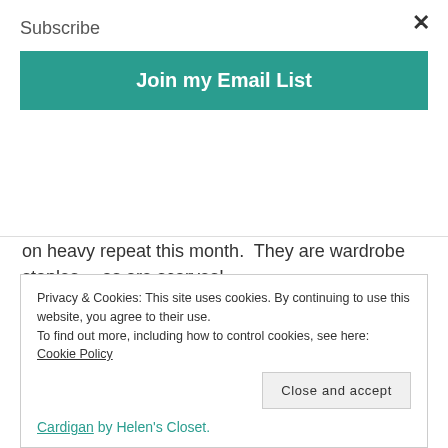Subscribe
Join my Email List
on heavy repeat this month.  They are wardrobe staples… as are scarves!
May 7:  Almost a repeat of May 5!!!  Ha Ha.  Oslo Cardigan, in fleece this time, Lane Raglan, Infinity Scarf featuring my SW Triangles Haze design printed on Modern Jersey, and thumbhole wrist warmers made
Privacy & Cookies: This site uses cookies. By continuing to use this website, you agree to their use.
To find out more, including how to control cookies, see here: Cookie Policy
Close and accept
Cardigan by Helen's Closet.